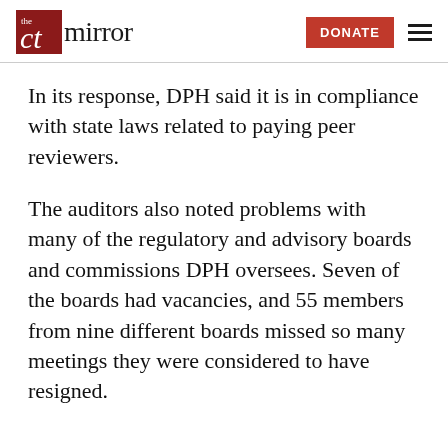the ct mirror — DONATE
In its response, DPH said it is in compliance with state laws related to paying peer reviewers.
The auditors also noted problems with many of the regulatory and advisory boards and commissions DPH oversees. Seven of the boards had vacancies, and 55 members from nine different boards missed so many meetings they were considered to have resigned.